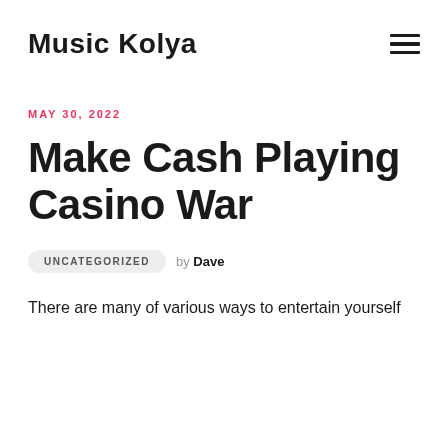Music Kolya
MAY 30, 2022
Make Cash Playing Casino War
UNCATEGORIZED by Dave
There are many of various ways to entertain yourself